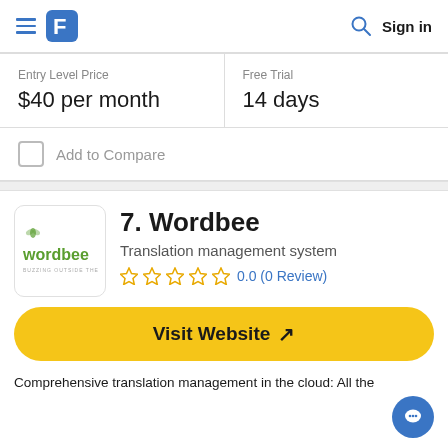≡ [logo] [search] Sign in
| Entry Level Price | Free Trial |
| --- | --- |
| $40 per month | 14 days |
Add to Compare
7. Wordbee
Translation management system
0.0 (0 Review)
Visit Website ↗
Comprehensive translation management in the cloud: All the